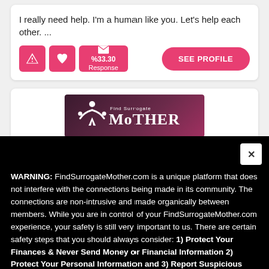I really need help. I'm a human like you. Let's help each other. ...
[Figure (screenshot): Action buttons row: alert icon button (pink), heart icon button (pink), envelope with %33.30 Response button (pink), and SEE PROFILE button (pink rounded)]
[Figure (logo): FindSurrogateMother.com banner logo on dark purple/maroon background with white figures icon]
WARNING: FindSurrogateMother.com is a unique platform that does not interfere with the connections being made in its community. The connections are non-intrusive and made organically between members. While you are in control of your FindSurrogateMother.com experience, your safety is still very important to us. There are certain safety steps that you should always consider: 1) Protect Your Finances & Never Send Money or Financial Information 2) Protect Your Personal Information and 3) Report Suspicious Members and All Suspicious Behavior. You are always the best judge of your own safety, these guidelines are not intended to be a substitute for your own judgment.